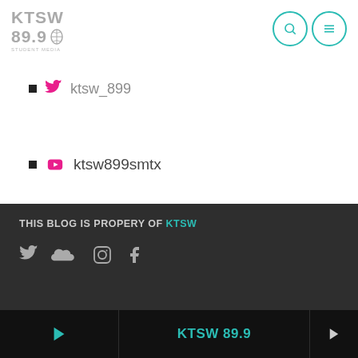KTSW 89.9
ktsw899smtx
ktsw_899
ktsw.net
THIS BLOG IS PROPERY OF KTSW
[Figure (other): Social media icons: Twitter, SoundCloud, Instagram, Facebook]
KTSW 89.9